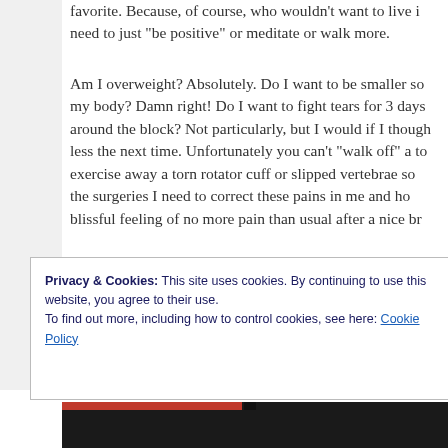favorite. Because, of course, who wouldn't want to live i... need to just "be positive" or meditate or walk more.
Am I overweight? Absolutely. Do I want to be smaller so my body? Damn right! Do I want to fight tears for 3 days around the block? Not particularly, but I would if I though less the next time. Unfortunately you can't "walk off" a to exercise away a torn rotator cuff or slipped vertebrae so the surgeries I need to correct these pains in me and ho blissful feeling of no more pain than usual after a nice br
Privacy & Cookies: This site uses cookies. By continuing to use this website, you agree to their use.
To find out more, including how to control cookies, see here: Cookie Policy

Close and accept